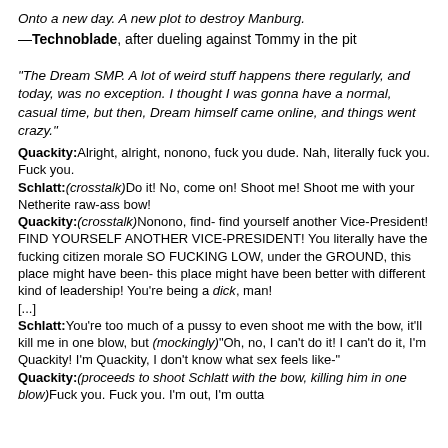Onto a new day. A new plot to destroy Manburg.
—Technoblade, after dueling against Tommy in the pit
"The Dream SMP. A lot of weird stuff happens there regularly, and today, was no exception. I thought I was gonna have a normal, casual time, but then, Dream himself came online, and things went crazy."
Quackity: Alright, alright, nonono, fuck you dude. Nah, literally fuck you. Fuck you.
Schlatt: (crosstalk) Do it! No, come on! Shoot me! Shoot me with your Netherite raw-ass bow!
Quackity: (crosstalk) Nonono, find- find yourself another Vice-President! FIND YOURSELF ANOTHER VICE-PRESIDENT! You literally have the fucking citizen morale SO FUCKING LOW, under the GROUND, this place might have been- this place might have been better with different kind of leadership! You're being a dick, man! [...]
Schlatt: You're too much of a pussy to even shoot me with the bow, it'll kill me in one blow, but (mockingly) "Oh, no, I can't do it! I can't do it, I'm Quackity! I'm Quackity, I don't know what sex feels like-"
Quackity: (proceeds to shoot Schlatt with the bow, killing him in one blow) Fuck you. Fuck you. I'm out, I'm outta here, all of you...